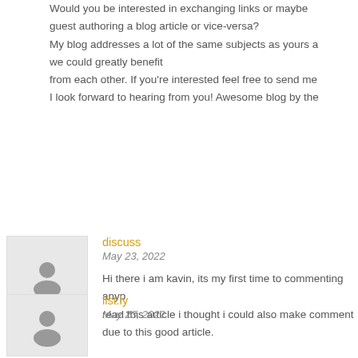Would you be interested in exchanging links or maybe guest authoring a blog article or vice-versa? My blog addresses a lot of the same subjects as yours a we could greatly benefit from each other. If you're interested feel free to send me I look forward to hearing from you! Awesome blog by the
discuss
May 23, 2022

Hi there i am kavin, its my first time to commenting anyp read this article i thought i could also make comment due to this good article.
list.ly
May 23, 2022